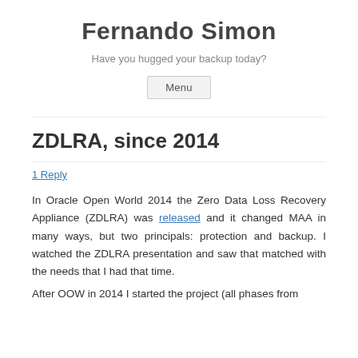Fernando Simon
Have you hugged your backup today?
Menu
ZDLRA, since 2014
1 Reply
In Oracle Open World 2014 the Zero Data Loss Recovery Appliance (ZDLRA) was released and it changed MAA in many ways, but two principals: protection and backup. I watched the ZDLRA presentation and saw that matched with the needs that I had that time.
After OOW in 2014 I started the project (all phases from